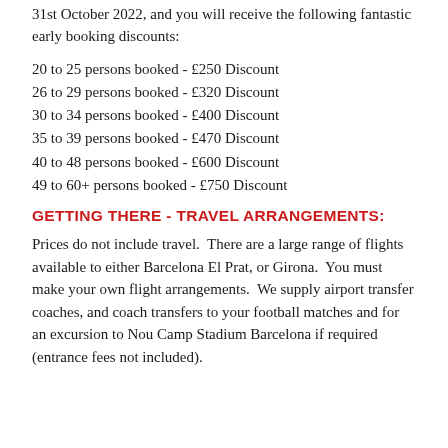31st October 2022, and you will receive the following fantastic early booking discounts:
20 to 25 persons booked - £250 Discount
26 to 29 persons booked - £320 Discount
30 to 34 persons booked - £400 Discount
35 to 39 persons booked - £470 Discount
40 to 48 persons booked - £600 Discount
49 to 60+ persons booked - £750 Discount
GETTING THERE - TRAVEL ARRANGEMENTS:
Prices do not include travel.  There are a large range of flights available to either Barcelona El Prat, or Girona.  You must make your own flight arrangements.  We supply airport transfer coaches, and coach transfers to your football matches and for an excursion to Nou Camp Stadium Barcelona if required (entrance fees not included).